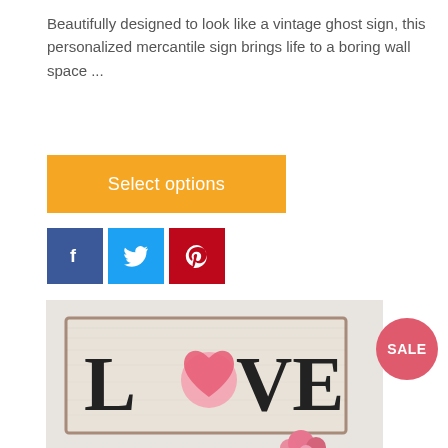Beautifully designed to look like a vintage ghost sign, this personalized mercantile sign brings life to a boring wall space ...
[Figure (other): Orange 'Select options' button]
[Figure (other): Social sharing icons: Facebook (blue), Twitter (light blue), Pinterest (red)]
[Figure (photo): Photo of a vintage-style distressed wooden sign reading 'LOVE' with a pink heart replacing the 'O', mounted on a wall above a shelf with pink flowers. A red circular SALE badge overlays the top-right corner.]